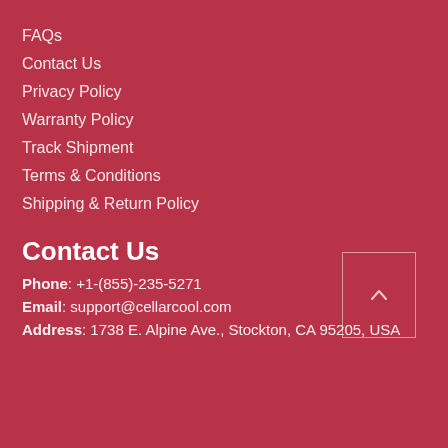FAQs
Contact Us
Privacy Policy
Warranty Policy
Track Shipment
Terms & Conditions
Shipping & Return Policy
Contact Us
Phone: +1-(855)-235-5271
Email: support@cellarcool.com
Address: 1738 E. Alpine Ave., Stockton, CA 95205, USA